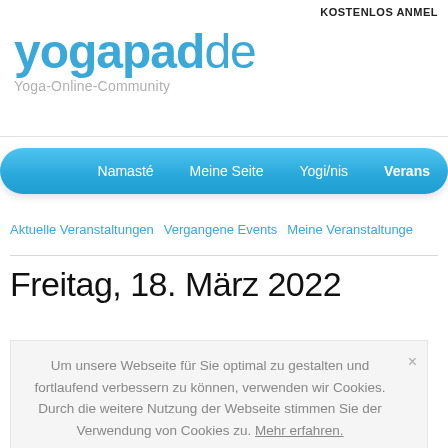KOSTENLOS ANMEL
yogapadde
Yoga-Online-Community
Namasté  Meine Seite  Yogi/nis  Verans
Aktuelle Veranstaltungen  Vergangene Events  Meine Veranstaltunge
Freitag, 18. März 2022
Um unsere Webseite für Sie optimal zu gestalten und fortlaufend verbessern zu können, verwenden wir Cookies. Durch die weitere Nutzung der Webseite stimmen Sie der Verwendung von Cookies zu. Mehr erfahren.